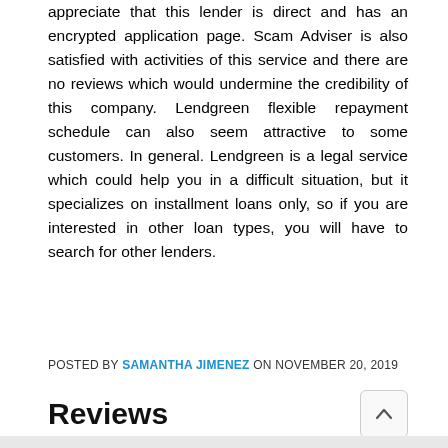appreciate that this lender is direct and has an encrypted application page. Scam Adviser is also satisfied with activities of this service and there are no reviews which would undermine the credibility of this company. Lendgreen flexible repayment schedule can also seem attractive to some customers. In general. Lendgreen is a legal service which could help you in a difficult situation, but it specializes on installment loans only, so if you are interested in other loan types, you will have to search for other lenders.
POSTED BY SAMANTHA JIMENEZ ON NOVEMBER 20, 2019
Reviews